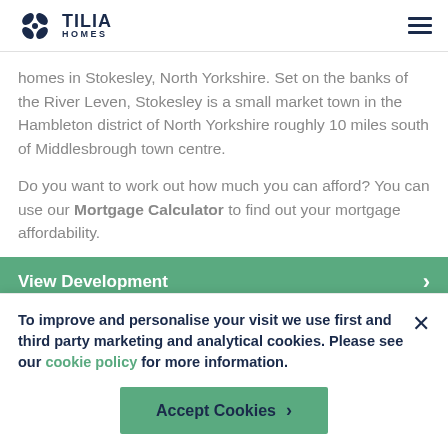[Figure (logo): Tilia Homes logo with stylized flower icon and text TILIA HOMES]
homes in Stokesley, North Yorkshire. Set on the banks of the River Leven, Stokesley is a small market town in the Hambleton district of North Yorkshire roughly 10 miles south of Middlesbrough town centre.
Do you want to work out how much you can afford? You can use our Mortgage Calculator to find out your mortgage affordability.
View Development
To improve and personalise your visit we use first and third party marketing and analytical cookies. Please see our cookie policy for more information.
Accept Cookies